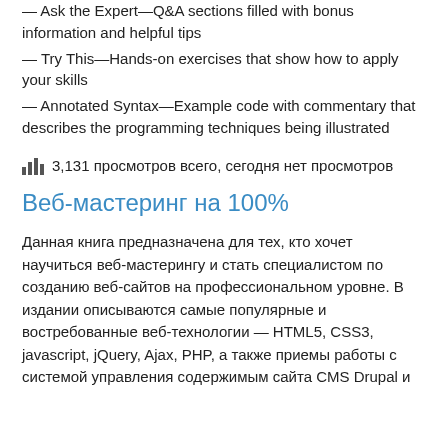— Ask the Expert—Q&A sections filled with bonus information and helpful tips
— Try This—Hands-on exercises that show how to apply your skills
— Annotated Syntax—Example code with commentary that describes the programming techniques being illustrated
3,131 просмотров всего, сегодня нет просмотров
Веб-мастеринг на 100%
Данная книга предназначена для тех, кто хочет научиться веб-мастерингу и стать специалистом по созданию веб-сайтов на профессиональном уровне. В издании описываются самые популярные и востребованные веб-технологии — HTML5, CSS3, javascript, jQuery, Ajax, PHP, а также приемы работы с системой управления содержимым сайта CMS Drupal и